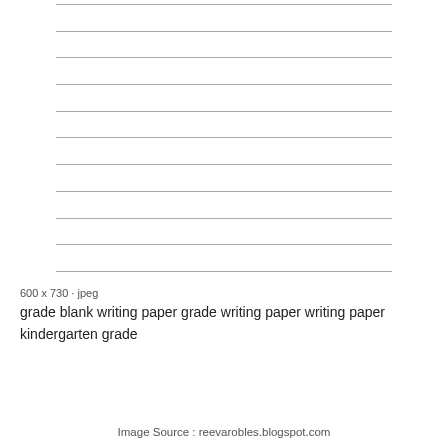[Figure (other): Blank lined writing paper with 11 horizontal gray lines evenly spaced, resembling a kindergarten or primary grade writing worksheet.]
600 x 730 · jpeg
grade blank writing paper grade writing paper writing paper kindergarten grade
Image Source : reevarobles.blogspot.com